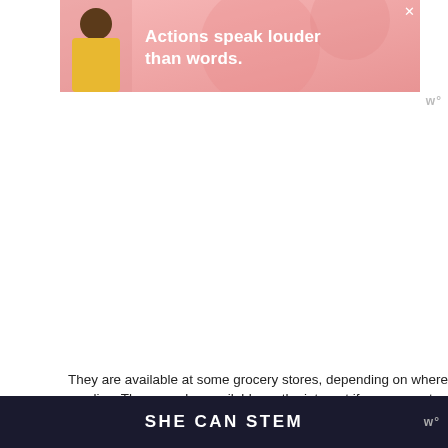[Figure (screenshot): Advertisement banner with pink/salmon gradient background showing a person in yellow jacket and text 'Actions speak louder than words.']
They are available at some grocery stores, depending on where you live. They are also available on the internet if you can not find them in your area.
Ingredients Needed To Make Air Fryer
SHE CAN STEM